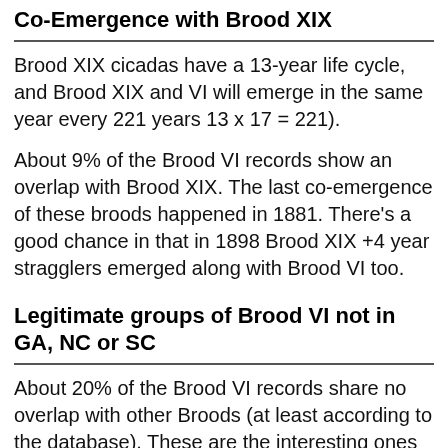Co-Emergence with Brood XIX
Brood XIX cicadas have a 13-year life cycle, and Brood XIX and VI will emerge in the same year every 221 years 13 x 17 = 221).
About 9% of the Brood VI records show an overlap with Brood XIX. The last co-emergence of these broods happened in 1881. There’s a good chance in that in 1898 Brood XIX +4 year stragglers emerged along with Brood VI too.
Legitimate groups of Brood VI not in GA, NC or SC
About 20% of the Brood VI records share no overlap with other Broods (at least according to the database). These are the interesting ones (to most least). They are most likely...